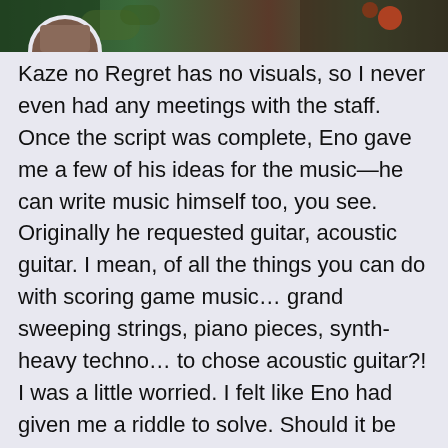[Figure (photo): Partial top image showing a person and natural/foliage background, cropped at top of page]
Kaze no Regret has no visuals, so I never even had any meetings with the staff. Once the script was complete, Eno gave me a few of his ideas for the music—he can write music himself too, you see. Originally he requested guitar, acoustic guitar. I mean, of all the things you can do with scoring game music… grand sweeping strings, piano pieces, synth-heavy techno… to chose acoustic guitar?! I was a little worried. I felt like Eno had given me a riddle to solve. Should it be solo acoustic…? Or acoustic guitar with other backing instruments…?
I decided I would try and use as little music